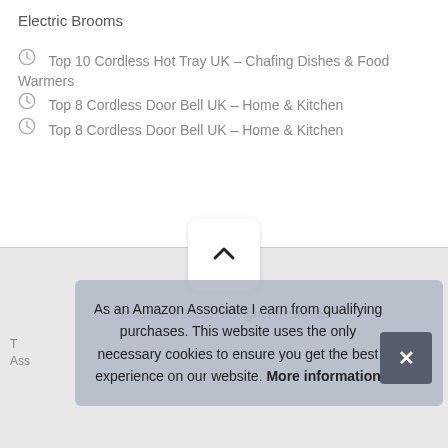Electric Brooms
Top 10 Cordless Hot Tray UK – Chafing Dishes & Food Warmers
Top 8 Cordless Door Bell UK – Home & Kitchen
Top 8 Cordless Door Bell UK – Home & Kitchen
Temadol © 2022. All Rights Reserved.
As an Amazon Associate I earn from qualifying purchases. This website uses the only necessary cookies to ensure you get the best experience on our website. More information